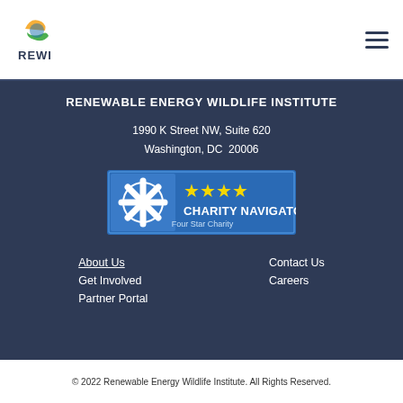[Figure (logo): REWI logo with orange and green sun/leaf icon above the text REWI]
Navigation header with REWI logo and hamburger menu
RENEWABLE ENERGY WILDLIFE INSTITUTE
1990 K Street NW, Suite 620
Washington, DC  20006
[Figure (logo): Charity Navigator Four Star Charity badge with four yellow stars]
About Us
Get Involved
Partner Portal
Contact Us
Careers
© 2022 Renewable Energy Wildlife Institute. All Rights Reserved.